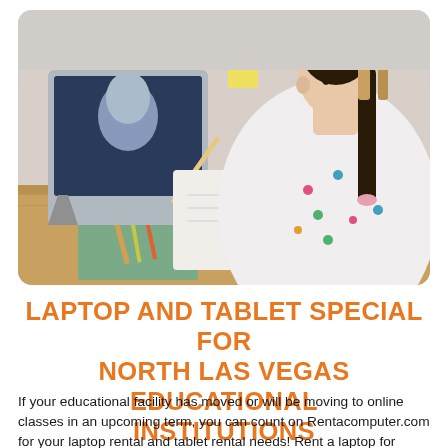[Figure (photo): A young girl with a long dark braid, wearing a white polka-dot shirt, sitting at a wooden desk writing in a notebook while looking at a tablet propped up in front of her. School supplies including pens and a notebook are on the desk.]
LAPTOP AND TABLET SPECIAL FOR NORTH LAS VEGAS EDUCATIONAL INSTITUTIONS
If your educational facility has moved or will be moving to online classes in an upcoming term, you can count on Rentacomputer.com for your laptop rental and tablet rental needs! Rent a laptop for school through Rentacomputer.com!